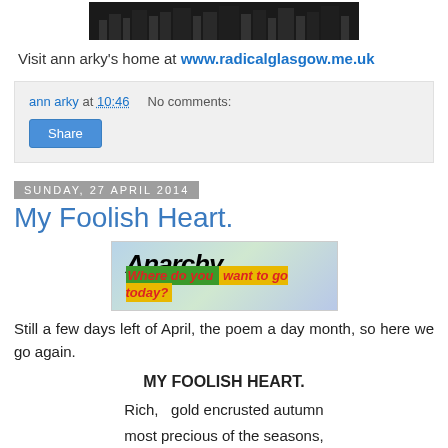[Figure (photo): Black and white banner/header image for the blog]
Visit ann arky's home at www.radicalglasgow.me.uk
ann arky at 10:46    No comments:
Share
Sunday, 27 April 2014
My Foolish Heart.
[Figure (illustration): Anarchy banner: 'Anarchy Where do you want to go today?' with green and yellow background]
Still a few days left of April, the poem a day month, so here we go again.
MY FOOLISH HEART.
Rich,   gold encrusted autumn
most precious of the seasons,